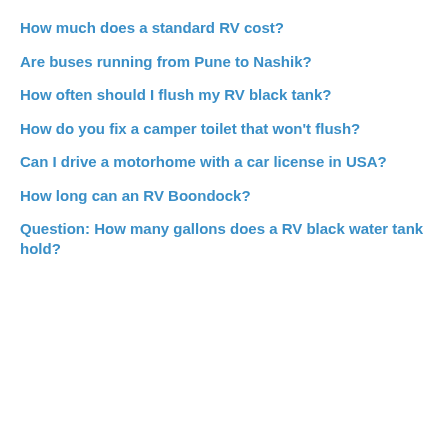How much does a standard RV cost?
Are buses running from Pune to Nashik?
How often should I flush my RV black tank?
How do you fix a camper toilet that won't flush?
Can I drive a motorhome with a car license in USA?
How long can an RV Boondock?
Question: How many gallons does a RV black water tank hold?